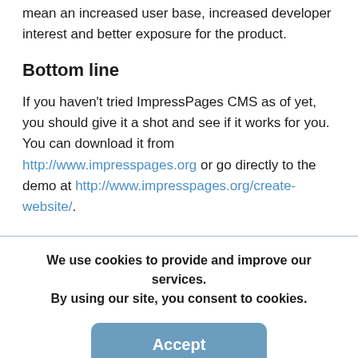mean an increased user base, increased developer interest and better exposure for the product.
Bottom line
If you haven't tried ImpressPages CMS as of yet, you should give it a shot and see if it works for you. You can download it from http://www.impresspages.org or go directly to the demo at http://www.impresspages.org/create-website/.
We use cookies to provide and improve our services. By using our site, you consent to cookies.
Accept
Learn more